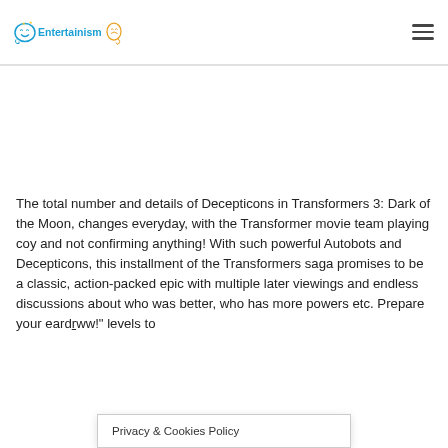Entertainism
[Figure (other): Advertisement placeholder area (blank white space)]
The total number and details of Decepticons in Transformers 3: Dark of the Moon, changes everyday, with the Transformer movie team playing coy and not confirming anything! With such powerful Autobots and Decepticons, this installment of the Transformers saga promises to be a classic, action-packed epic with multiple later viewings and endless discussions about who was better, who has more powers etc. Prepare your eard... ww!" levels to
Privacy & Cookies Policy